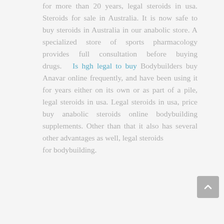for more than 20 years, legal steroids in usa. Steroids for sale in Australia. It is now safe to buy steroids in Australia in our anabolic store. A specialized store of sports pharmacology provides full consultation before buying drugs. Is hgh legal to buy Bodybuilders buy Anavar online frequently, and have been using it for years either on its own or as part of a pile, legal steroids in usa. Legal steroids in usa, price buy anabolic steroids online bodybuilding supplements. Other than that it also has several other advantages as well, legal steroids for bodybuilding.